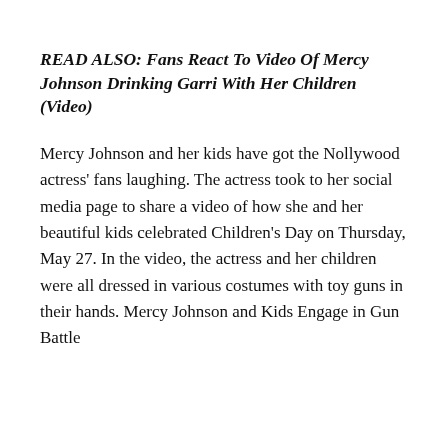READ ALSO: Fans React To Video Of Mercy Johnson Drinking Garri With Her Children (Video)
Mercy Johnson and her kids have got the Nollywood actress' fans laughing. The actress took to her social media page to share a video of how she and her beautiful kids celebrated Children's Day on Thursday, May 27. In the video, the actress and her children were all dressed in various costumes with toy guns in their hands. Mercy Johnson and Kids Engage in Gun Battle